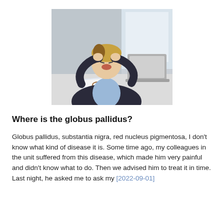[Figure (photo): A stressed woman in a black blazer sitting at a desk, gripping her head with both hands, grimacing, with a laptop and papers on the desk in front of her.]
Where is the globus pallidus?
Globus pallidus, substantia nigra, red nucleus pigmentosa, I don't know what kind of disease it is. Some time ago, my colleagues in the unit suffered from this disease, which made him very painful and didn't know what to do. Then we advised him to treat it in time. Last night, he asked me to ask my [2022-09-01]